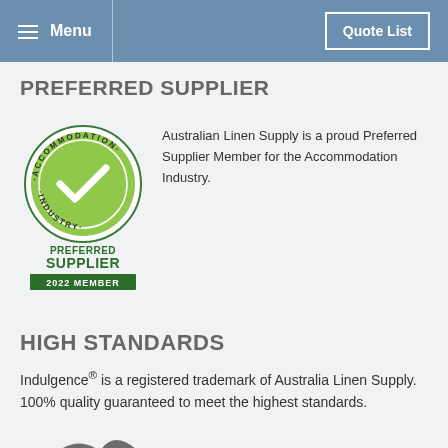Menu | Quote List
PREFERRED SUPPLIER
[Figure (logo): Accommodation Industry Preferred Supplier 2022 Member badge — circular green logo with checkmark and text reading ACCOMMODATION INDUSTRY around the circle, below it PREFERRED SUPPLIER 2022 MEMBER in dark green]
Australian Linen Supply is a proud Preferred Supplier Member for the Accommodation Industry.
HIGH STANDARDS
Indulgence® is a registered trademark of Australia Linen Supply. 100% quality guaranteed to meet the highest standards.
[Figure (illustration): Partial bird/swallow illustration at bottom of page]